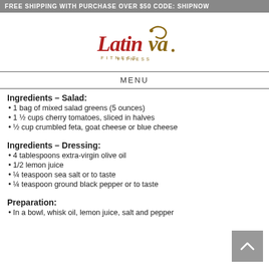FREE SHIPPING WITH PURCHASE OVER $50 CODE: SHIPNOW
[Figure (logo): Latinva Fitness logo with stylized text in red and gold/brown]
MENU
Ingredients – Salad:
1 bag of mixed salad greens (5 ounces)
1 ½ cups cherry tomatoes, sliced in halves
½ cup crumbled feta, goat cheese or blue cheese
Ingredients – Dressing:
4 tablespoons extra-virgin olive oil
1/2 lemon juice
¼ teaspoon sea salt or to taste
¼ teaspoon ground black pepper or to taste
Preparation:
In a bowl, whisk oil, lemon juice, salt and pepper